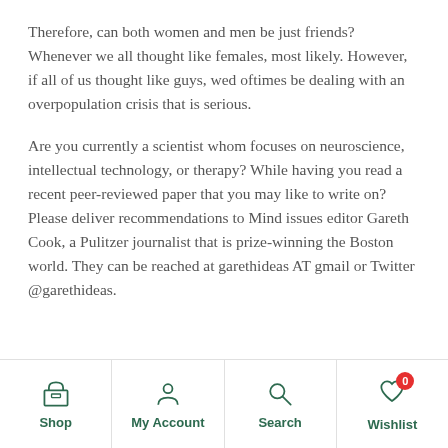Therefore, can both women and men be just friends? Whenever we all thought like females, most likely. However, if all of us thought like guys, wed oftimes be dealing with an overpopulation crisis that is serious.
Are you currently a scientist whom focuses on neuroscience, intellectual technology, or therapy? While having you read a recent peer-reviewed paper that you may like to write on? Please deliver recommendations to Mind issues editor Gareth Cook, a Pulitzer journalist that is prize-winning the Boston world. They can be reached at garethideas AT gmail or Twitter @garethideas.
Shop | My Account | Search | Wishlist